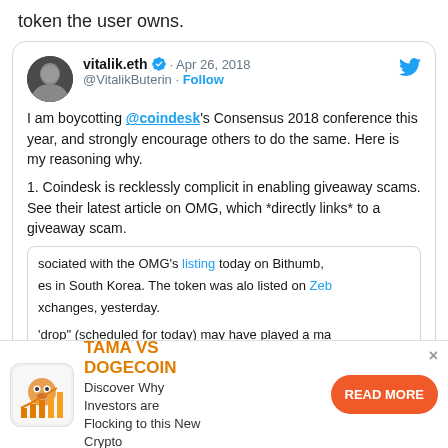token the user owns.
[Figure (screenshot): Tweet by vitalik.eth (@VitalikButerin) dated Apr 26, 2018: 'I am boycotting @coindesk's Consensus 2018 conference this year, and strongly encourage others to do the same. Here is my reasoning why. 1. Coindesk is recklessly complicit in enabling giveaway scams. See their latest article on OMG, which *directly links* to a giveaway scam.' Contains a nested quoted article snippet with highlighted text about OMG listing on Bithumb.]
[Figure (infographic): Advertisement banner: TAMA VS DOGECOIN. Discover Why Investors are Flocking to this New Crypto. READ MORE button in orange.]